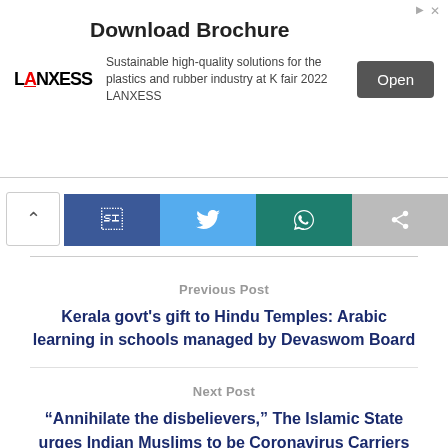[Figure (screenshot): LANXESS advertisement banner with 'Download Brochure' title, logo, description text, and Open button]
[Figure (infographic): Social share bar with chevron up, Facebook, Twitter, WhatsApp, and share buttons]
Previous Post
Kerala govt's gift to Hindu Temples: Arabic learning in schools managed by Devaswom Board
Next Post
“Annihilate the disbelievers,” The Islamic State urges Indian Muslims to be Coronavirus Carriers